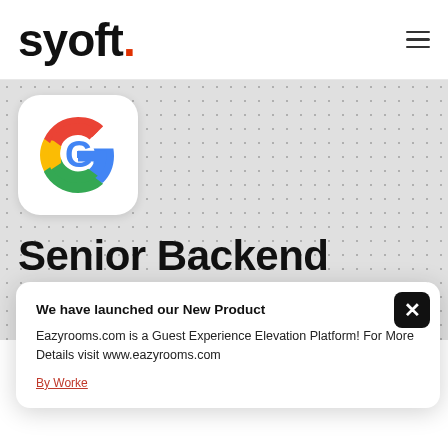[Figure (logo): Syoft logo with bold black text 'syoft.' and red period]
[Figure (logo): Google 'G' logo icon in white card with rounded corners]
Senior Backend Developer
We have launched our New Product
Eazyrooms.com is a Guest Experience Elevation Platform! For More Details visit www.eazyrooms.com
By Worke